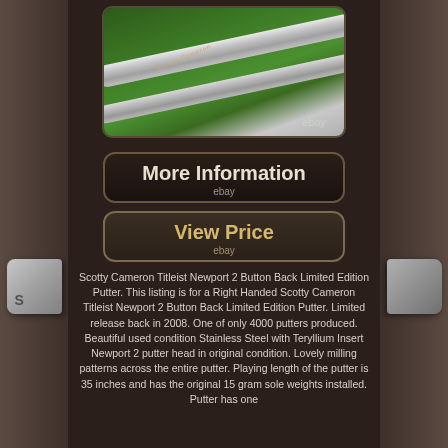[Figure (photo): Close-up photo of a Scotty Cameron putter shaft/grip on green grass background, with 'Scotty Cameron' script visible on the shaft. An 'ebay' watermark is visible.]
[Figure (other): Button reading 'More Information' with 'ebay' text below]
[Figure (other): Button reading 'View Price' with 'ebay' text below]
Scotty Cameron Titleist Newport 2 Button Back Limited Edition Putter. This listing is for a Right Handed Scotty Cameron Titleist Newport 2 Button Back Limited Edition Putter. Limited release back in 2008. One of only 4000 putters produced. Beautiful used condition Stainless Steel with Teryllium Insert Newport 2 putter head in original condition. Lovely milling patterns across the entire putter. Playing length of the putter is 35 inches and has the original 15 gram sole weights installed. Putter has one